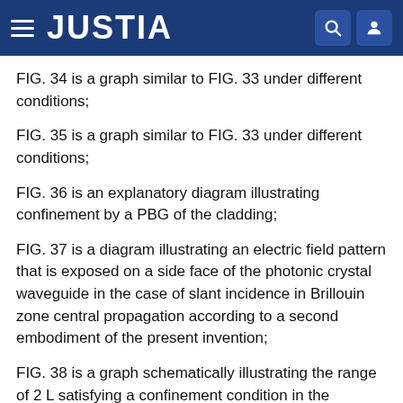JUSTIA
FIG. 34 is a graph similar to FIG. 33 under different conditions;
FIG. 35 is a graph similar to FIG. 33 under different conditions;
FIG. 36 is an explanatory diagram illustrating confinement by a PBG of the cladding;
FIG. 37 is a diagram illustrating an electric field pattern that is exposed on a side face of the photonic crystal waveguide in the case of slant incidence in Brillouin zone central propagation according to a second embodiment of the present invention;
FIG. 38 is a graph schematically illustrating the range of 2 L satisfying a confinement condition in the Brillouin zone